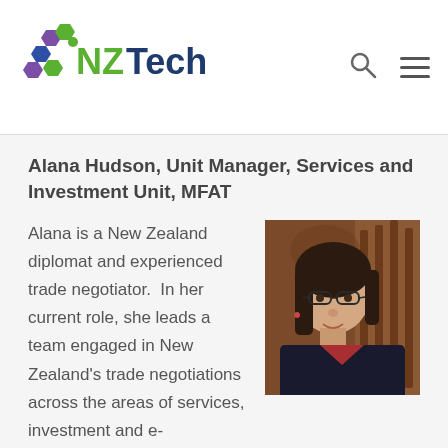[Figure (logo): NZTech logo with hexagonal icons in green and purple, text 'NZTech' in green and dark blue]
Alana Hudson, Unit Manager, Services and Investment Unit, MFAT
[Figure (photo): Portrait photo of Alana Hudson, a woman with dark hair and glasses, wearing dark clothing, with a carved wooden backdrop]
Alana is a New Zealand diplomat and experienced trade negotiator.  In her current role, she leads a team engaged in New Zealand's trade negotiations across the areas of services, investment and e-